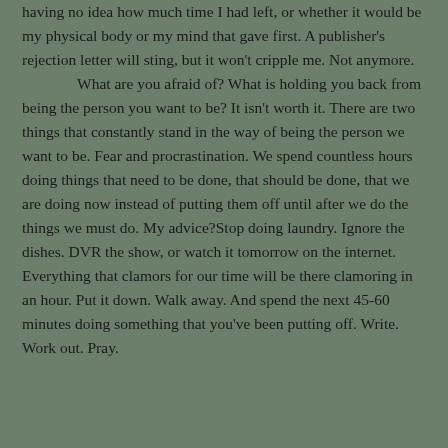having no idea how much time I had left, or whether it would be my physical body or my mind that gave first. A publisher's rejection letter will sting, but it won't cripple me. Not anymore.

What are you afraid of? What is holding you back from being the person you want to be? It isn't worth it. There are two things that constantly stand in the way of being the person we want to be. Fear and procrastination. We spend countless hours doing things that need to be done, that should be done, that we are doing now instead of putting them off until after we do the things we must do. My advice?Stop doing laundry. Ignore the dishes. DVR the show, or watch it tomorrow on the internet. Everything that clamors for our time will be there clamoring in an hour. Put it down. Walk away. And spend the next 45-60 minutes doing something that you've been putting off. Write. Work out. Pray.